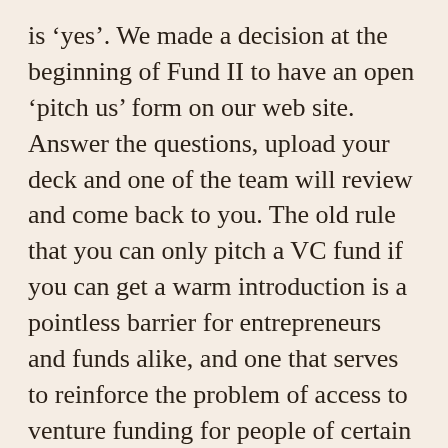is 'yes'. We made a decision at the beginning of Fund II to have an open 'pitch us' form on our web site. Answer the questions, upload your deck and one of the team will review and come back to you. The old rule that you can only pitch a VC fund if you can get a warm introduction is a pointless barrier for entrepreneurs and funds alike, and one that serves to reinforce the problem of access to venture funding for people of certain backgrounds. We want to meet the best businesses and we don't care where they come from.
What is something you've learned that you lean on daily?